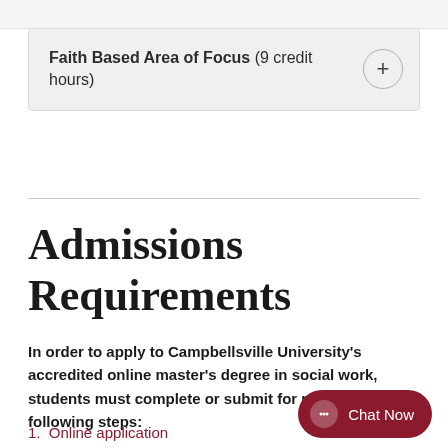Faith Based Area of Focus (9 credit hours)
Admissions Requirements
In order to apply to Campbellsville University's accredited online master's degree in social work, students must complete or submit for review the following steps:
1. Online application